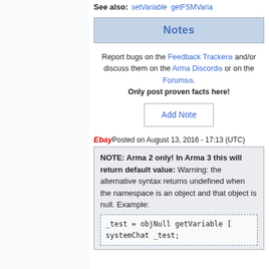See also: setVariable getFSMVariable
Notes
Report bugs on the Feedback Tracker and/or discuss them on the Arma Discord or on the Forums. Only post proven facts here!
Add Note
Ebay Posted on August 13, 2016 - 17:13 (UTC)
NOTE: Arma 2 only! In Arma 3 this will return default value: Warning: the alternative syntax returns undefined when the namespace is an object and that object is null. Example:
_test = objNull getVariable [
systemChat _test;